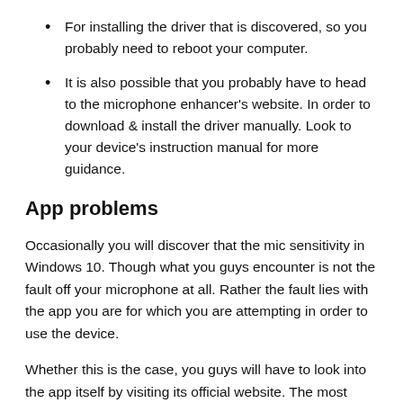For installing the driver that is discovered, so you probably need to reboot your computer.
It is also possible that you probably have to head to the microphone enhancer's website. In order to download & install the driver manually. Look to your device's instruction manual for more guidance.
App problems
Occasionally you will discover that the mic sensitivity in Windows 10. Though what you guys encounter is not the fault off your microphone at all. Rather the fault lies with the app you are for which you are attempting in order to use the device.
Whether this is the case, you guys will have to look into the app itself by visiting its official website. The most